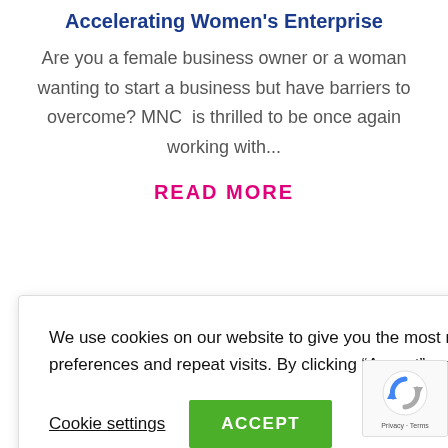Accelerating Women's Enterprise
Are you a female business owner or a woman wanting to start a business but have barriers to overcome? MNC  is thrilled to be once again working with...
READ MORE
We use cookies on our website to give you the most relevant experience by remembering your preferences and repeat visits. By clicking “Accept”, you consent to the use of ALL the cookies.
Cookie settings   ACCEPT
[Figure (logo): reCAPTCHA badge with spinning arrows logo and Privacy - Terms text]